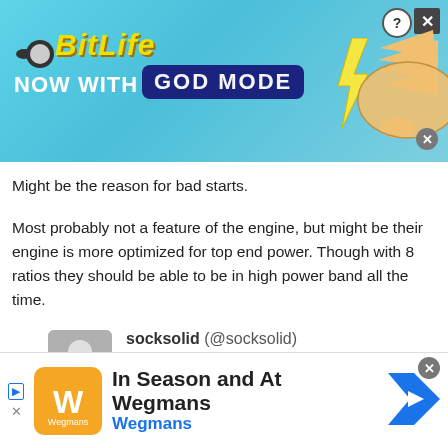[Figure (screenshot): BitLife 'NOW WITH GOD MODE' advertisement banner with blue background, logo, and hand graphic]
Might be the reason for bad starts.
Most probably not a feature of the engine, but might be their engine is more optimized for top end power. Though with 8 ratios they should be able to be in high power band all the time.
socksolid (@socksolid)
4th May 2016, 4:24
Looks can be deceiving. What looks fast may not be and what doesn't look fast may be...
[Figure (screenshot): Wegmans 'In Season and At Wegmans' advertisement banner at bottom of page]